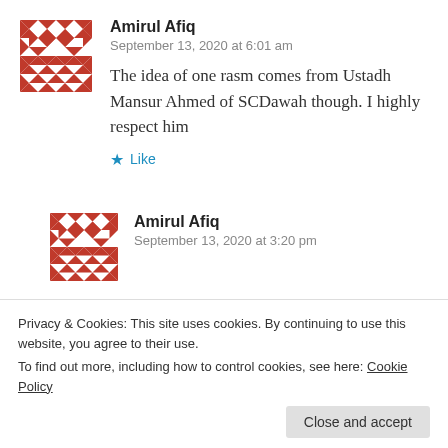[Figure (illustration): Red and white geometric/mosaic avatar for Amirul Afiq (first comment)]
Amirul Afiq
September 13, 2020 at 6:01 am
The idea of one rasm comes from Ustadh Mansur Ahmed of SCDawah though. I highly respect him
Like
[Figure (illustration): Red and white geometric/mosaic avatar for Amirul Afiq (second comment)]
Amirul Afiq
September 13, 2020 at 3:20 pm
Privacy & Cookies: This site uses cookies. By continuing to use this website, you agree to their use.
To find out more, including how to control cookies, see here: Cookie Policy
Close and accept